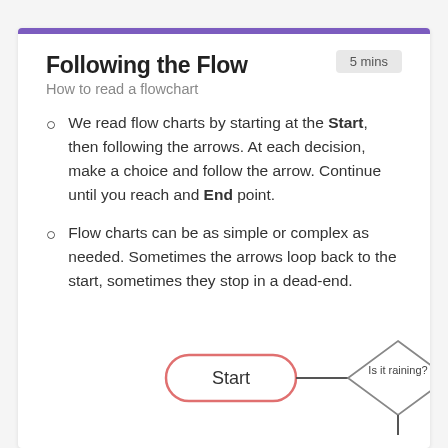Following the Flow
How to read a flowchart
We read flow charts by starting at the Start, then following the arrows. At each decision, make a choice and follow the arrow. Continue until you reach and End point.
Flow charts can be as simple or complex as needed. Sometimes the arrows loop back to the start, sometimes they stop in a dead-end.
[Figure (flowchart): A flowchart showing: Start (rounded rectangle with red border) → arrow → 'Is it raining?' (diamond decision shape) → No → arrow → partially visible orange circle (next step cut off). Arrow continues downward from diamond.]